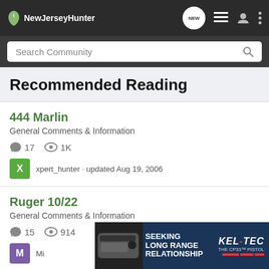NewJerseyHunter
Search Community
Recommended Reading
444 Marlin
General Comments & Information
17 comments  1K views
xpert_hunter · updated Aug 19, 2006
Ruger 10/22
General Comments & Information
15 comments  914 views
Mi...
[Figure (photo): Kel-Tec CP33 pistol advertisement: SEEKING LONG RANGE RELATIONSHIP - THE CP33 PISTOL]